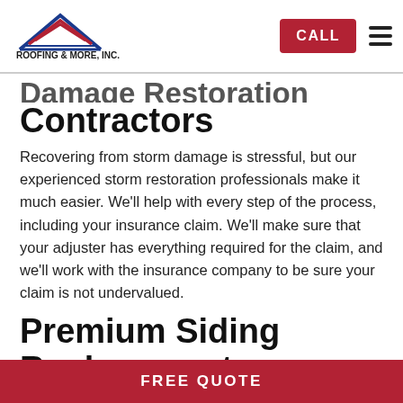[Figure (logo): Roofing & More, Inc. logo with house/roof graphic in blue and red, with tagline 'RESIDENTIAL & COMMERCIAL ALL UNDER ONE ROOF']
Damage Restoration Contractors
Recovering from storm damage is stressful, but our experienced storm restoration professionals make it much easier. We'll help with every step of the process, including your insurance claim. We'll make sure that your adjuster has everything required for the claim, and we'll work with the insurance company to be sure your claim is not undervalued.
Premium Siding Replacement
New siding is a home improvement that enhances the look of your home exterior, protects it from the elements, and
FREE QUOTE